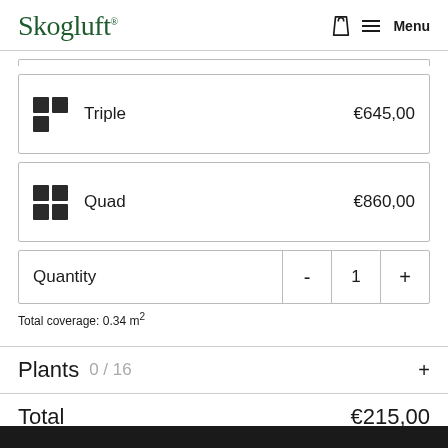Skogluft — Menu
| Option | Price |
| --- | --- |
| Triple | €645,00 |
| Quad | €860,00 |
| Quantity | - | 1 | + |
| --- | --- | --- | --- |
Total coverage: 0.34 m²
Plants  0 / 16  +
Total  €215,00